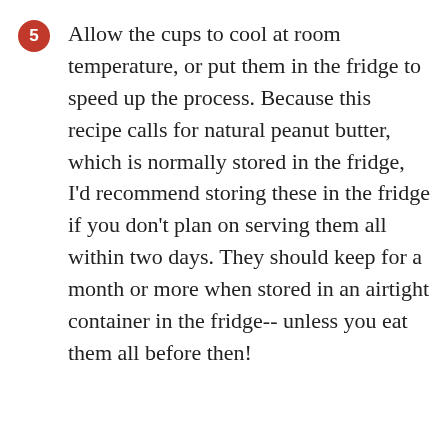Allow the cups to cool at room temperature, or put them in the fridge to speed up the process. Because this recipe calls for natural peanut butter, which is normally stored in the fridge, I'd recommend storing these in the fridge if you don't plan on serving them all within two days. They should keep for a month or more when stored in an airtight container in the fridge-- unless you eat them all before then!